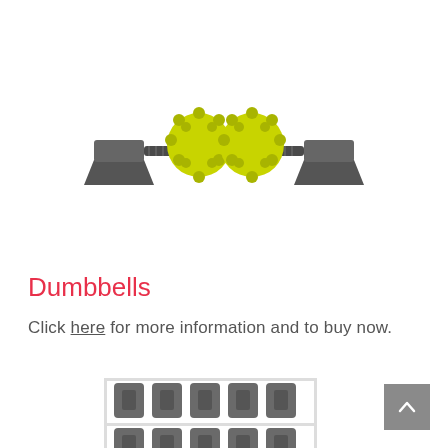[Figure (photo): A dual-ball massage roller device with two yellow spiky balls mounted on a dark grey bar with two base stands, sitting on a white background.]
Dumbbells
Click here for more information and to buy now.
[Figure (photo): A dumbbell rack with multiple rows of grey hex dumbbells on a white metal frame, partially visible from the top.]